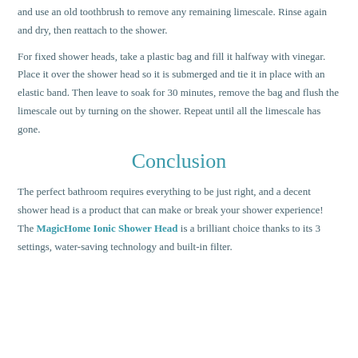and use an old toothbrush to remove any remaining limescale. Rinse again and dry, then reattach to the shower.
For fixed shower heads, take a plastic bag and fill it halfway with vinegar. Place it over the shower head so it is submerged and tie it in place with an elastic band. Then leave to soak for 30 minutes, remove the bag and flush the limescale out by turning on the shower. Repeat until all the limescale has gone.
Conclusion
The perfect bathroom requires everything to be just right, and a decent shower head is a product that can make or break your shower experience! The MagicHome Ionic Shower Head is a brilliant choice thanks to its 3 settings, water-saving technology and built-in filter.